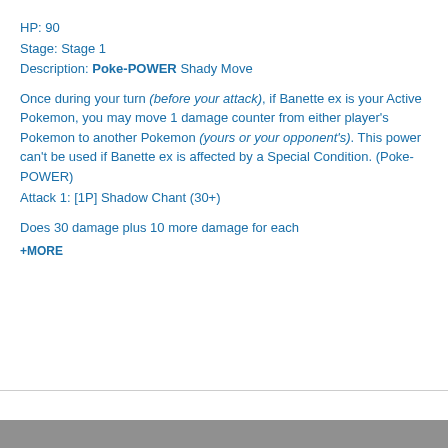HP: 90
Stage: Stage 1
Description: Poke-POWER Shady Move
Once during your turn (before your attack), if Banette ex is your Active Pokemon, you may move 1 damage counter from either player's Pokemon to another Pokemon (yours or your opponent's). This power can't be used if Banette ex is affected by a Special Condition. (Poke-POWER)
Attack 1: [1P] Shadow Chant (30+)
Does 30 damage plus 10 more damage for each
+ MORE